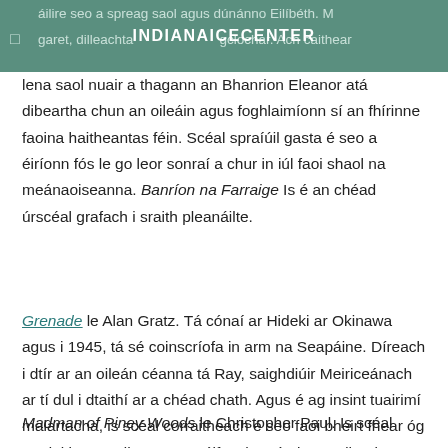INDIANAICECENTER
lena saol nuair a thagann an Bhanrion Eleanor atá dibeartha chun an oileáin agus foghlaimíonn sí an fhírinne faoina haitheantas féin. Scéal spraíúil gasta é seo a éiríonn fós le go leor sonraí a chur in iúl faoi shaol na meánaoiseanna. Banríon na Farraige Is é an chéad úrscéal grafach i sraith pleanáilte.
Grenade le Alan Gratz. Tá cónaí ar Hideki ar Okinawa agus i 1945, tá sé coinscríofa in arm na Seapáine. Díreach i dtír ar an oileán céanna tá Ray, saighdiúir Meiriceánach ar tí dul i dtaithí ar a chéad chath. Agus é ag insint tuairimí malartacha, is scéal corraitheach é seo faoi bheirt fhear óg ag dul i gcogadh, agus an éifeacht atá aige ar dhaoine aonair. Riveting.
Madman of Piney Woods le Christopher Paul. Is scéal